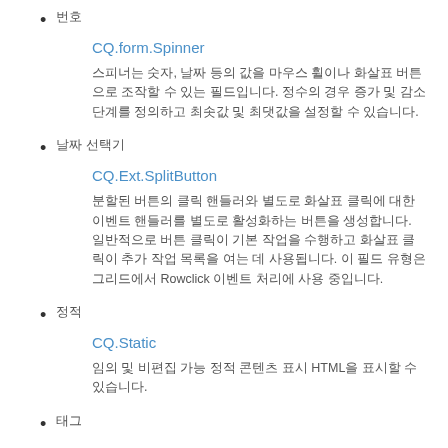번호
CQ.form.Spinner
스피너는 숫자, 날짜 등의 값을 마우스 휠이나 화살표 버튼으로 조작할 수 있는 필드입니다. 정수의 경우 증가 및 감소 단계를 정의하고 최솟값 및 최댓값을 설정할 수 있습니다.
날짜 선택기
CQ.Ext.SplitButton
분할된 버튼의 클릭 핸들러와 별도로 화살표 클릭에 대한 이벤트 핸들러를 별도로 활성화하는 버튼을 생성합니다. 일반적으로 버튼 클릭이 기본 작업을 수행하고 화살표 클릭이 추가 작업 목록을 여는 데 사용됩니다. 이 필드 유형은 그리드에서 Rowclick 이벤트 처리에 사용 중입니다.
정적
CQ.Static
임의 및 비편집 가능 정적 콘텐츠 표시 HTML을 표시할 수 있습니다.
태그